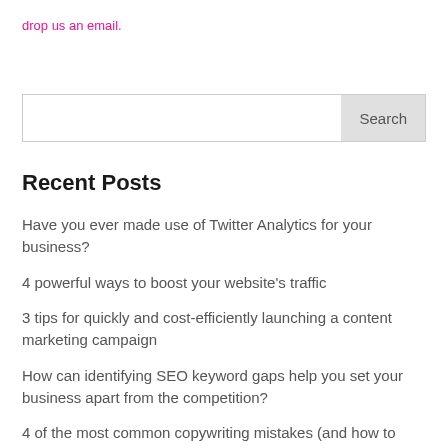drop us an email.
Search
Recent Posts
Have you ever made use of Twitter Analytics for your business?
4 powerful ways to boost your website's traffic
3 tips for quickly and cost-efficiently launching a content marketing campaign
How can identifying SEO keyword gaps help you set your business apart from the competition?
4 of the most common copywriting mistakes (and how to avoid them)